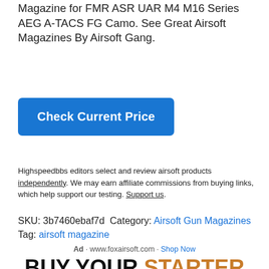Magazine for FMR ASR UAR M4 M16 Series AEG A-TACS FG Camo. See Great Airsoft Magazines By Airsoft Gang.
[Figure (other): Blue 'Check Current Price' button]
Highspeedbbs editors select and review airsoft products independently. We may earn affiliate commissions from buying links, which help support our testing. Support us.
SKU: 3b7460ebaf7d Category: Airsoft Gun Magazines Tag: airsoft magazine
Ad · www.foxairsoft.com · Shop Now
[Figure (photo): Fox Airsoft advertisement: 'BUY YOUR STARTER KIT COMPLETE' with airsoft gun and accessories]